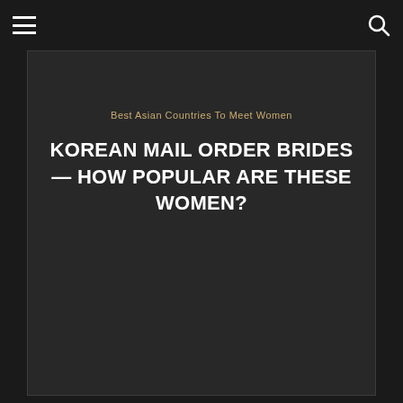☰  🔍
Best Asian Countries To Meet Women
KOREAN MAIL ORDER BRIDES — HOW POPULAR ARE THESE WOMEN?